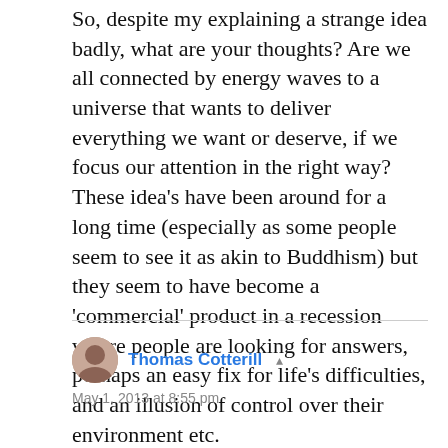So, despite my explaining a strange idea badly, what are your thoughts? Are we all connected by energy waves to a universe that wants to deliver everything we want or deserve, if we focus our attention in the right way? These idea's have been around for a long time (especially as some people seem to see it as akin to Buddhism) but they seem to have become a 'commercial' product in a recession where people are looking for answers, perhaps an easy fix for life's difficulties, and an illusion of control over their environment etc.
Thomas Cotterill
May 1, 2013 at 8:55 pm